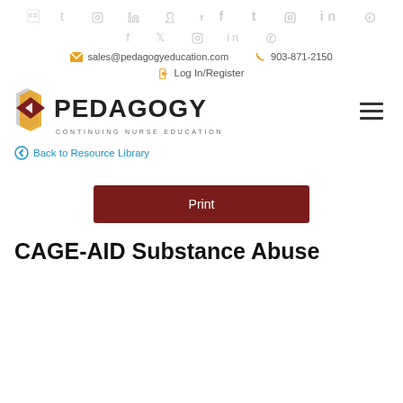f  t  (instagram)  in  (pinterest)
sales@pedagogyeducation.com   903-871-2150
Log In/Register
[Figure (logo): Pedagogy Continuing Nurse Education logo with stacked book pages icon and bold PEDAGOGY text]
Back to Resource Library
Print
CAGE-AID Substance Abuse